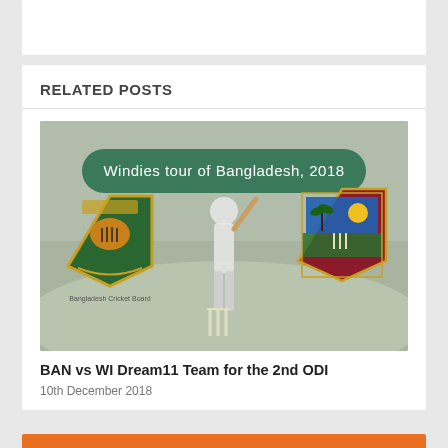RELATED POSTS
[Figure (photo): Cricket match image: Windies tour of Bangladesh, 2018. Shows Bangladesh Cricket Board logo on left, West Indies cricket logo on right, cricketer batting in the middle. Green banner text: 'Windies tour of Bangladesh, 2018'.]
BAN vs WI Dream11 Team for the 2nd ODI
10th December 2018